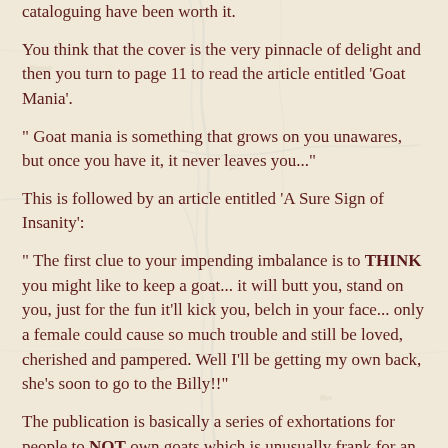cataloguing have been worth it.
You think that the cover is the very pinnacle of delight and then you turn to page 11 to read the article entitled 'Goat Mania'.
" Goat mania is something that grows on you unawares, but once you have it, it never leaves you..."
This is followed by an article entitled 'A Sure Sign of Insanity':
" The first clue to your impending imbalance is to THINK you might like to keep a goat... it will butt you, stand on you, just for the fun it'll kick you, belch in your face... only a female could cause so much trouble and still be loved, cherished and pampered. Well I'll be getting my own back, she's soon to go to the Billy!!"
The publication is basically a series of exhortations for people to NOT own goats which is unusually frank for an